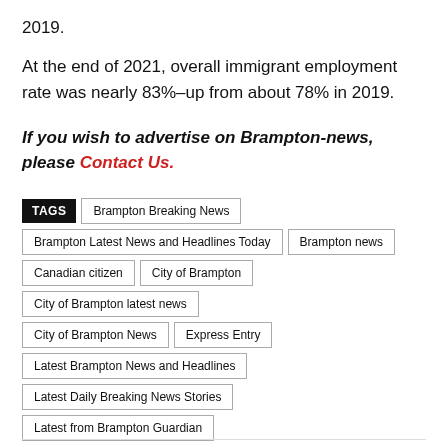2019.
At the end of 2021, overall immigrant employment rate was nearly 83%–up from about 78% in 2019.
If you wish to advertise on Brampton-news, please Contact Us.
TAGS Brampton Breaking News Brampton Latest News and Headlines Today Brampton news Canadian citizen City of Brampton City of Brampton latest news City of Brampton News Express Entry Latest Brampton News and Headlines Latest Daily Breaking News Stories Latest from Brampton Guardian